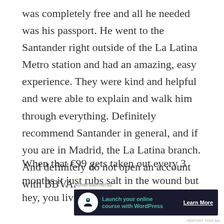was completely free and all he needed was his passport. He went to the Santander right outside of the La Latina Metro station and had an amazing, easy experience. They were kind and helpful and were able to explain and walk him through everything. Definitely recommend Santander in general, and if you are in Madrid, the La Latina branch. And definitely do not open an account with BBVA.
When that €99 gets taken out every 3 months it just rubs salt in the wound but hey, you live and you learn.
[Figure (infographic): Advertisement banner with dark navy background showing a tree/person icon in a white circle, text 'Launch your online course with WordPress' in teal, and a 'Learn More' button in white underlined text. Preceded by an 'Advertisements' label and a close (X) button.]